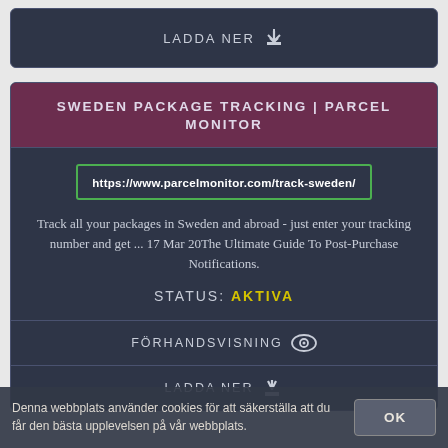LADDA NER ↓
SWEDEN PACKAGE TRACKING | PARCEL MONITOR
https://www.parcelmonitor.com/track-sweden/
Track all your packages in Sweden and abroad - just enter your tracking number and get ... 17 Mar 20The Ultimate Guide To Post-Purchase Notifications.
STATUS: AKTIVA
FÖRHANDSVISNING
LADDA NER ↓
Denna webbplats använder cookies för att säkerställa att du får den bästa upplevelsen på vår webbplats.
OK